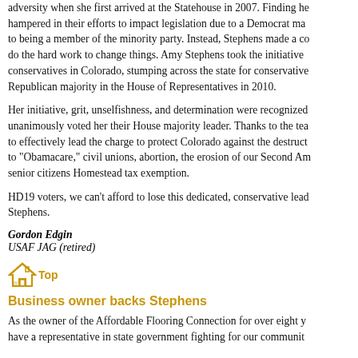adversity when she first arrived at the Statehouse in 2007. Finding her hampered in their efforts to impact legislation due to a Democrat majority, to being a member of the minority party. Instead, Stephens made a commitment to do the hard work to change things. Amy Stephens took the initiative to elect conservatives in Colorado, stumping across the state for conservatives, and won a Republican majority in the House of Representatives in 2010.
Her initiative, grit, unselfishness, and determination were recognized when Republicans unanimously voted her their House majority leader. Thanks to the team she assembled to effectively lead the charge to protect Colorado against the destructive challenges to "Obamacare," civil unions, abortion, the erosion of our Second Amendment rights, senior citizens Homestead tax exemption.
HD19 voters, we can't afford to lose this dedicated, conservative leader. Vote for Amy Stephens.
Gordon Edgin
USAF JAG (retired)
[Figure (illustration): Home icon with 'Top' text in gold/yellow color, functioning as a navigation link]
Business owner backs Stephens
As the owner of the Affordable Flooring Connection for over eight years, I need to have a representative in state government fighting for our community.